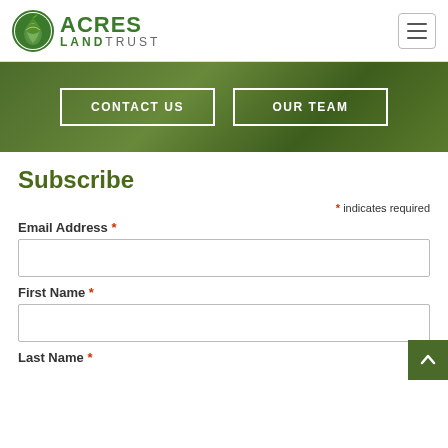Acres Land Trust
[Figure (logo): Acres Land Trust logo with circular green leaf/acorn icon and text ACRES LANDTRUST]
CONTACT US
OUR TEAM
Subscribe
* indicates required
Email Address *
First Name *
Last Name *